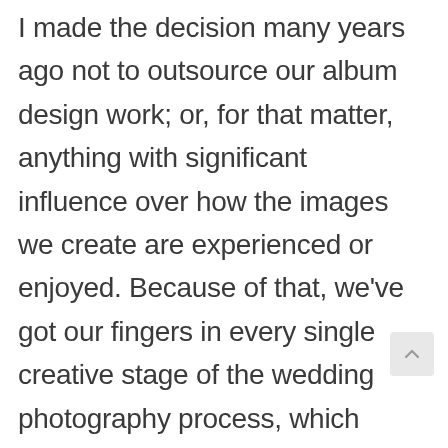I made the decision many years ago not to outsource our album design work; or, for that matter, anything with significant influence over how the images we create are experienced or enjoyed. Because of that, we've got our fingers in every single creative stage of the wedding photography process, which means we've also had to come up with a philosophy to guide us, and a process to make it as easy as possible for our clients.

A lot of people don't think about how the